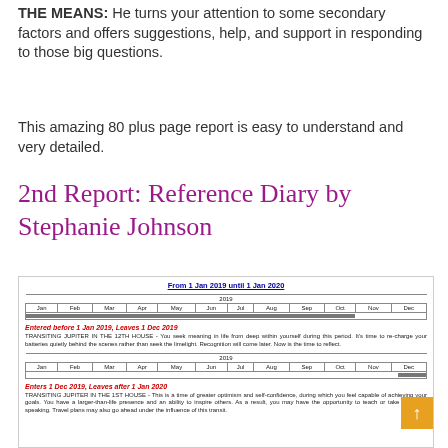THE MEANS: He turns your attention to some secondary factors and offers suggestions, help, and support in responding to those big questions.
This amazing 80 plus page report is easy to understand and very detailed.
2nd Report: Reference Diary by Stephanie Johnson
[Figure (screenshot): Screenshot of a Reference Diary report showing a calendar timeline from 1 Jan 2019 to 1 Jan 2020, with transiting Jupiter entries including 'Entered before 1 Jan 2019, Leaves 1 Dec 2019' and 'Enters 1 Dec 2019, Leaves after 1 Jan 2020', each with a month timeline table and explanatory text about Transiting Jupiter in the 12th House and 1st House.]